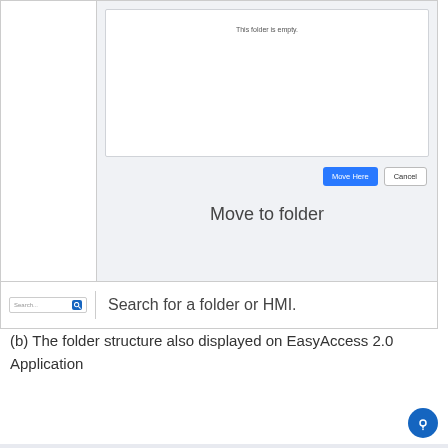[Figure (screenshot): A UI dialog showing a file browser with 'This folder is empty.' text, a blue 'Move Here' button and a grey 'Cancel' button. Below is a row showing a search box on the left and 'Move to folder' label on the right in the main content area. A second row shows a search field on the left and 'Search for a folder or HMI.' text on the right.]
(b) The folder structure also displayed on EasyAccess 2.0 Application